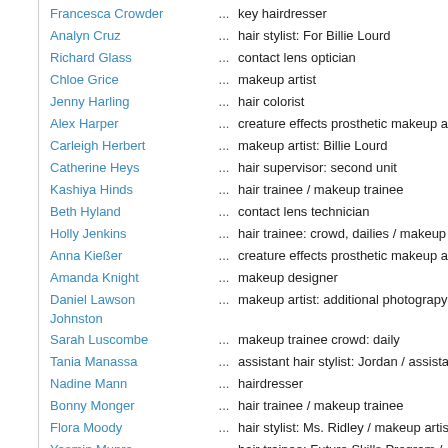Francesca Crowder ... key hairdresser
Analyn Cruz ... hair stylist: For Billie Lourd
Richard Glass ... contact lens optician
Chloe Grice ... makeup artist
Jenny Harling ... hair colorist
Alex Harper ... creature effects prosthetic makeup artist
Carleigh Herbert ... makeup artist: Billie Lourd
Catherine Heys ... hair supervisor: second unit
Kashiya Hinds ... hair trainee / makeup trainee
Beth Hyland ... contact lens technician
Holly Jenkins ... hair trainee: crowd, dailies / makeup trainee
Anna Kießer ... creature effects prosthetic makeup artist
Amanda Knight ... makeup designer
Daniel Lawson Johnston ... makeup artist: additional photograpy
Sarah Luscombe ... makeup trainee crowd: daily
Tania Manassa ... assistant hair stylist: Jordan / assistant
Nadine Mann ... hairdresser
Bonny Monger ... hair trainee / makeup trainee
Flora Moody ... hair stylist: Ms. Ridley / makeup artist:
Yasmin Munro ... hair trainee: Future Skills Program / makeup trainee: Future Skills Program
Sharon Nicholas ... makeup supervisor: second unit
Heenal Patel ... contact lens optician